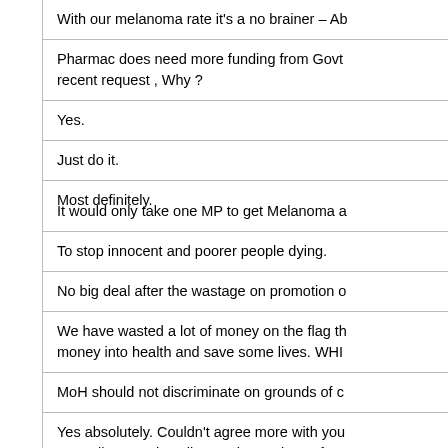With our melanoma rate it's a no brainer – Ab…
Pharmac does need more funding from Govt… recent request , Why ?
Yes.
Just do it.
Most definitely.
It would only take one MP to get Melanoma a…
To stop innocent and poorer people dying.
No big deal after the wastage on promotion o…
We have wasted a lot of money on the flag th… money into health and save some lives. WHI…
MoH should not discriminate on grounds of c…
Yes absolutely. Couldn't agree more with you… naturally occurring climate change it can fun… the number one priority of government.